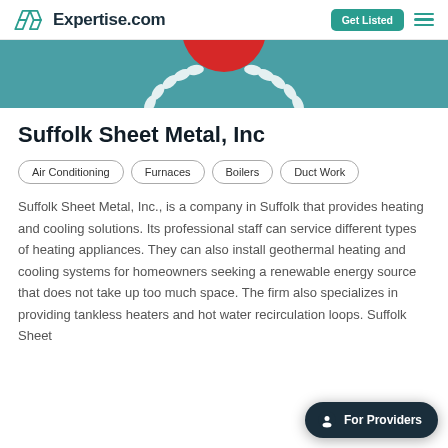Expertise.com
[Figure (illustration): Expertise.com award medallion partial view — teal background with red and white laurel wreath emblem at top]
Suffolk Sheet Metal, Inc
Air Conditioning
Furnaces
Boilers
Duct Work
Suffolk Sheet Metal, Inc., is a company in Suffolk that provides heating and cooling solutions. Its professional staff can service different types of heating appliances. They can also install geothermal heating and cooling systems for homeowners seeking a renewable energy source that does not take up too much space. The firm also specializes in providing tankless heaters and hot water recirculation loops. Suffolk Sheet